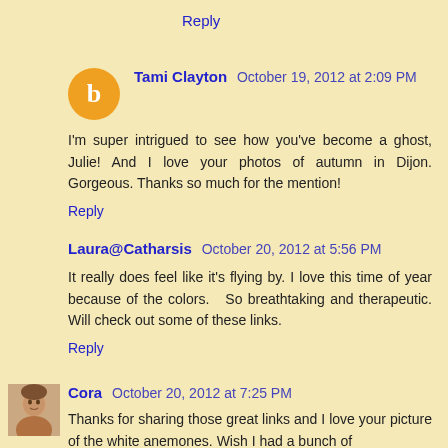Reply
Tami Clayton  October 19, 2012 at 2:09 PM
I'm super intrigued to see how you've become a ghost, Julie! And I love your photos of autumn in Dijon. Gorgeous. Thanks so much for the mention!
Reply
Laura@Catharsis  October 20, 2012 at 5:56 PM
It really does feel like it's flying by. I love this time of year because of the colors.  So breathtaking and therapeutic. Will check out some of these links.
Reply
Cora  October 20, 2012 at 7:25 PM
Thanks for sharing those great links and I love your picture of the white anemones. Wish I had a bunch of